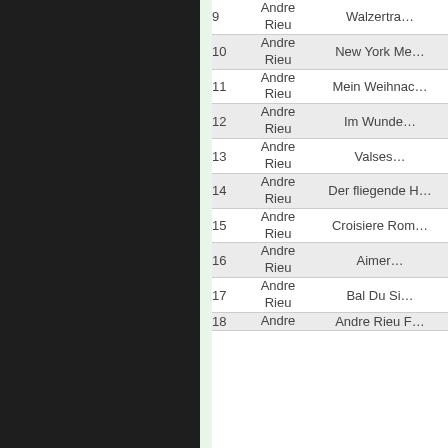| # | Artist | Title |
| --- | --- | --- |
| 9 | Andre Rieu | Walzertra… |
| 10 | Andre Rieu | New York Me… |
| 11 | Andre Rieu | Mein Weihnac… |
| 12 | Andre Rieu | Im Wunde… |
| 13 | Andre Rieu | Valses… |
| 14 | Andre Rieu | Der fliegende H… |
| 15 | Andre Rieu | Croisiere Rom… |
| 16 | Andre Rieu | Aimer… |
| 17 | Andre Rieu | Bal Du Si… |
| 18 | Andre Rieu | Andre Rieu F… |